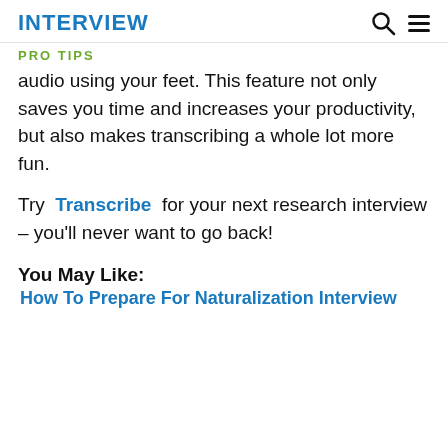INTERVIEW
PRO TIPS
audio using your feet. This feature not only saves you time and increases your productivity, but also makes transcribing a whole lot more fun.
Try Transcribe for your next research interview – you'll never want to go back!
You May Like:
How To Prepare For Naturalization Interview